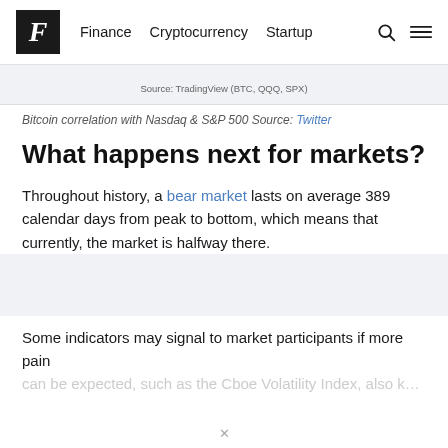F  Finance  Cryptocurrency  Startup
Source: TradingView (BTC, QQQ, SPX)
Bitcoin correlation with Nasdaq & S&P 500 Source: Twitter
What happens next for markets?
Throughout history, a bear market lasts on average 389 calendar days from peak to bottom, which means that currently, the market is halfway there.
Some indicators may signal to market participants if more pain can be expected, such as the Cboe Volatility Index, also known